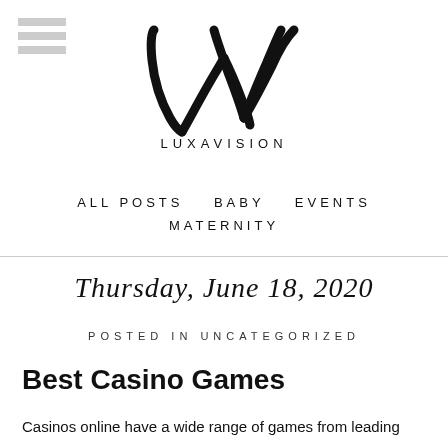[Figure (logo): Luxavision logo with stylized LXV letters and LUXAVISION text below]
ALL POSTS   BABY   EVENTS   MATERNITY
Thursday, June 18, 2020
POSTED IN UNCATEGORIZED
Best Casino Games
Casinos online have a wide range of games from leading